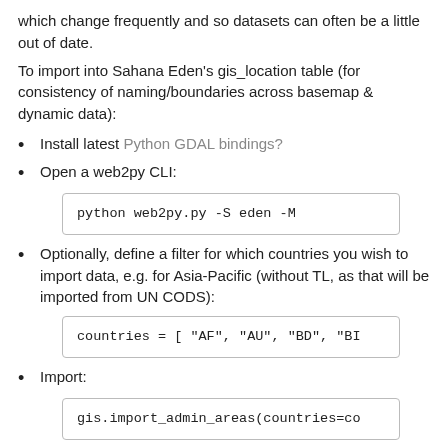which change frequently and so datasets can often be a little out of date.
To import into Sahana Eden's gis_location table (for consistency of naming/boundaries across basemap & dynamic data):
Install latest Python GDAL bindings?
Open a web2py CLI:
python web2py.py -S eden -M
Optionally, define a filter for which countries you wish to import data, e.g. for Asia-Pacific (without TL, as that will be imported from UN CODS):
countries = [ "AF", "AU", "BD", "BI
Import:
gis.import_admin_areas(countries=co
This can then be served as separate WMS layers using GeoServer & GeoWebCache.
You can use GeoServer?'s ⇒SQLView feature.